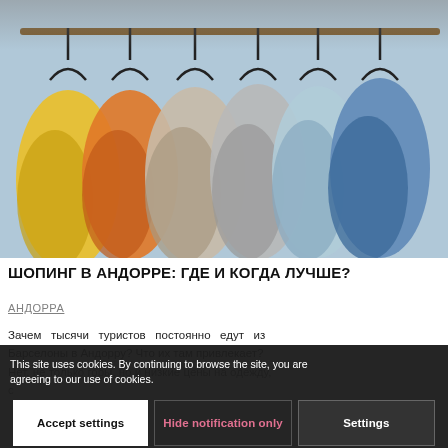[Figure (photo): Colorful jackets and coats hanging on a clothing rack with black hangers, outdoors or in a market setting. Colors include yellow, orange, beige/gray, light blue, and dark blue.]
ШОПИНГ В АНДОРРЕ: ГДЕ И КОГДА ЛУЧШЕ?
АНДОРРА
Зачем тысячи туристов постоянно едут из Барселоны в Андорру? Что их там привлекает? Нет, не только горы, но и низкие цены на одежду, с
This site uses cookies. By continuing to browse the site, you are agreeing to our use of cookies.
Accept settings | Hide notification only | Settings